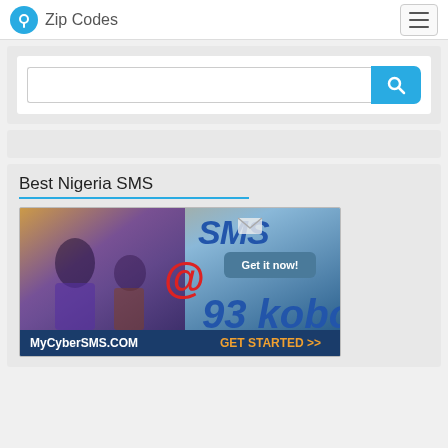Zip Codes
[Figure (screenshot): Search bar with magnifying glass button on light grey background]
[Figure (screenshot): Grey bar, empty content area]
Best Nigeria SMS
[Figure (infographic): MyCyberSMS.COM advertisement banner — SMS @ 93 kobo, Get it now!, GET STARTED >>]